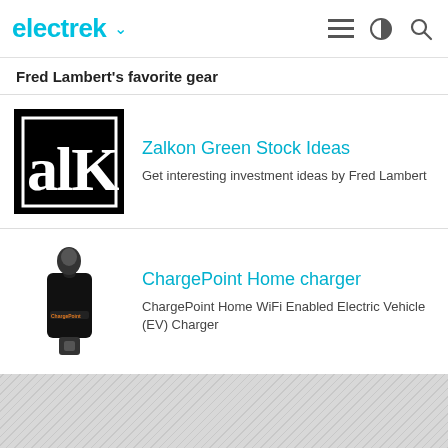electrek
Fred Lambert's favorite gear
[Figure (logo): Zalkon logo - black background with white letters 'alK' in a square border]
Zalkon Green Stock Ideas
Get interesting investment ideas by Fred Lambert
[Figure (photo): ChargePoint Home charger device - black EV charger with cable]
ChargePoint Home charger
ChargePoint Home WiFi Enabled Electric Vehicle (EV) Charger